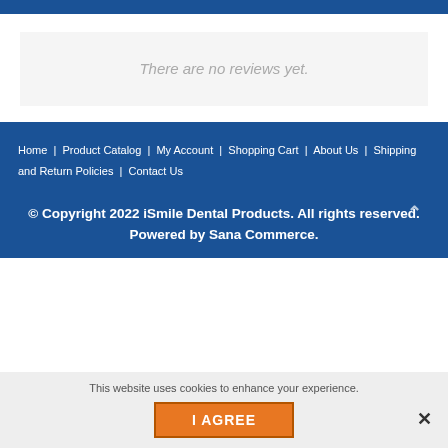There are no reviews yet.
Home | Product Catalog | My Account | Shopping Cart | About Us | Shipping and Return Policies | Contact Us
© Copyright 2022 iSmile Dental Products. All rights reserved. Powered by Sana Commerce.
This website uses cookies to enhance your experience.
I AGREE